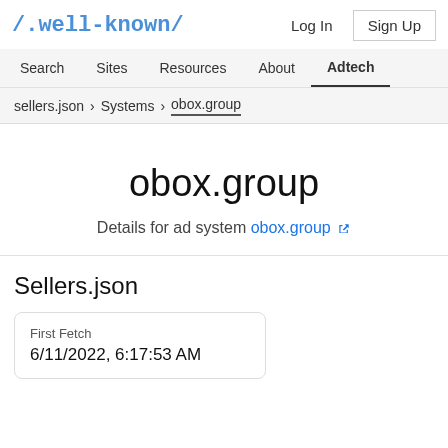/.well-known/
Log In  Sign Up
Search  Sites  Resources  About  Adtech
sellers.json > Systems > obox.group
obox.group
Details for ad system obox.group
Sellers.json
| First Fetch |
| --- |
| 6/11/2022, 6:17:53 AM |